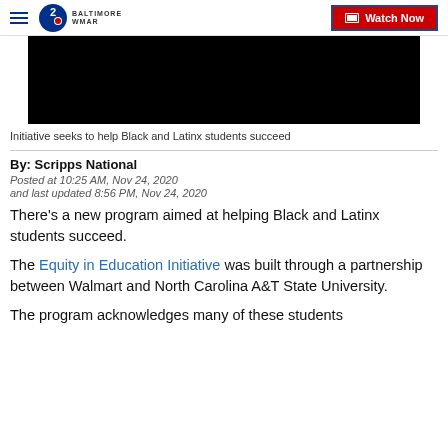WMAR Baltimore 2 — Watch Now
[Figure (screenshot): Black video player placeholder]
Initiative seeks to help Black and Latinx students succeed
By: Scripps National
Posted at 10:25 AM, Nov 24, 2020
and last updated 8:56 PM, Nov 24, 2020
There's a new program aimed at helping Black and Latinx students succeed.
The Equity in Education Initiative was built through a partnership between Walmart and North Carolina A&T State University.
The program acknowledges many of these students